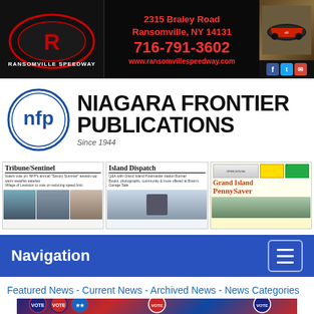[Figure (screenshot): Ransomville Speedway banner ad with logo, address 2315 Braley Road Ransomville, NY 14131, phone 716-791-3602, website www.ransomvillespeedway.com, racing car photo, and social media icons]
[Figure (logo): Niagara Frontier Publications logo with NFP circular emblem and bold text, Since 1944]
[Figure (screenshot): Three newspaper thumbnails: Tribune/Sentinel, Island Dispatch, and Grand Island PennySaver]
Navigation
Featured News - Current News - Archived News - News Categories
[Figure (photo): Political campaign buttons/pins with VOTE text, red white and blue colors]